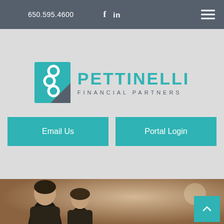650.595.4600
[Figure (logo): Pettinelli Financial Partners logo with teal icon showing interconnected circles and text PETTINELLI FINANCIAL PARTNERS]
Email Us
Portal Login
[Figure (photo): Photo of a smiling couple outdoors with bokeh background, warm autumn tones]